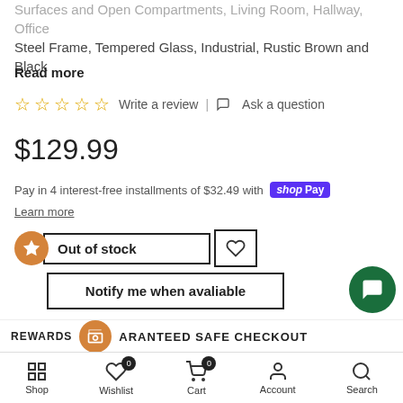...Surfaces and Open Compartments, Living Room, Hallway, Office Steel Frame, Tempered Glass, Industrial, Rustic Brown and Black
Read more
☆☆☆☆☆ Write a review | 💬 Ask a question
$129.99
Pay in 4 interest-free installments of $32.49 with shop Pay
Learn more
Out of stock
Notify me when avaliable
Free Shipping on All Orders
REWARDS  GUARANTEED SAFE CHECKOUT
Shop  Wishlist 0  Cart 0  Account  Search